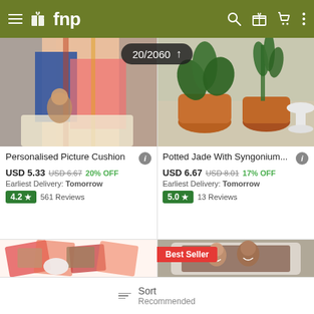fnp
[Figure (screenshot): Product listing showing Personalised Picture Cushion image (colorful fabric/sari) and Potted Jade With Syngonium image (plant in copper pot), with scroll indicator '20/2060']
Personalised Picture Cushion
USD 5.33 USD 6.67 20% OFF
Earliest Delivery: Tomorrow
4.2 ★ 561 Reviews
Potted Jade With Syngonium...
USD 6.67 USD 8.01 17% OFF
Earliest Delivery: Tomorrow
5.0 ★ 13 Reviews
[Figure (photo): Explosion box gift with photos of a man and a dog, decorated in red pattern]
[Figure (photo): Personalised picture cushion with a couple's photo, Best Seller badge]
Sort
Recommended